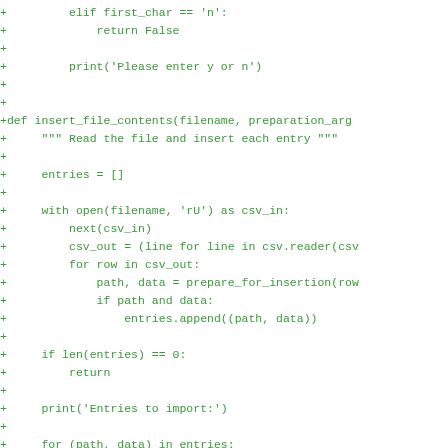+         elif first_char == 'n':
+             return False
+
+         print('Please enter y or n')
+
+
+def insert_file_contents(filename, preparation_arg
+     """ Read the file and insert each entry """
+
+     entries = []
+
+     with open(filename, 'rU') as csv_in:
+         next(csv_in)
+         csv_out = (line for line in csv.reader(csv
+         for row in csv_out:
+             path, data = prepare_for_insertion(row
+             if path and data:
+                 entries.append((path, data))
+
+     if len(entries) == 0:
+         return
+
+     print('Entries to import:')
+
+     for (path, data) in entries:
+         print(path)
+